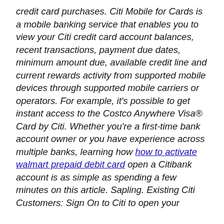credit card purchases. Citi Mobile for Cards is a mobile banking service that enables you to view your Citi credit card account balances, recent transactions, payment due dates, minimum amount due, available credit line and current rewards activity from supported mobile devices through supported mobile carriers or operators. For example, it's possible to get instant access to the Costco Anywhere Visa® Card by Citi. Whether you're a first-time bank account owner or you have experience across multiple banks, learning how how to activate walmart prepaid debit card open a Citibank account is as simple as spending a few minutes on this article. Sapling. Existing Citi Customers: Sign On to Citi to open your